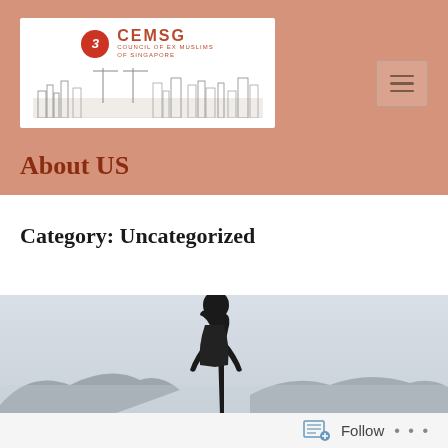[Figure (logo): CEMSG Council of Ex Muslims of Singapore logo with red circle icon, text and Singapore skyline sketch]
About US
Category: Uncategorized
[Figure (photo): A person in dark clothing viewed from behind against a misty mountain landscape]
Follow ...